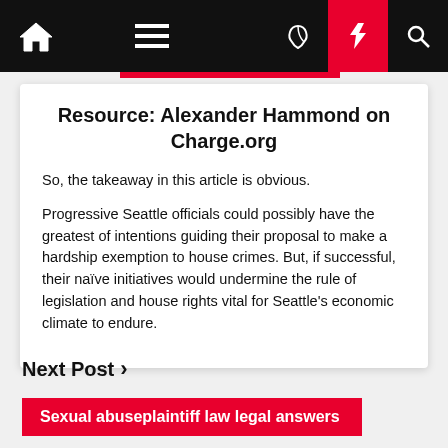Navigation bar with home, menu, dark mode, flash, and search icons
Resource: Alexander Hammond on Charge.org
So, the takeaway in this article is obvious.
Progressive Seattle officials could possibly have the greatest of intentions guiding their proposal to make a hardship exemption to house crimes. But, if successful, their naïve initiatives would undermine the rule of legislation and house rights vital for Seattle's economic climate to endure.
Next Post ›
Sexual abuseplaintiff law legal answers